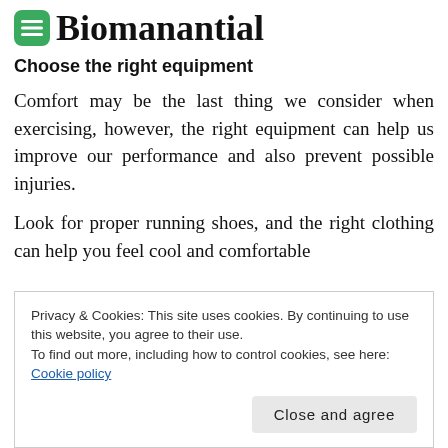Biomanantial
Choose the right equipment
Comfort may be the last thing we consider when exercising, however, the right equipment can help us improve our performance and also prevent possible injuries.
Look for proper running shoes, and the right clothing can help you feel cool and comfortable
Privacy & Cookies: This site uses cookies. By continuing to use this website, you agree to their use.
To find out more, including how to control cookies, see here: Cookie policy